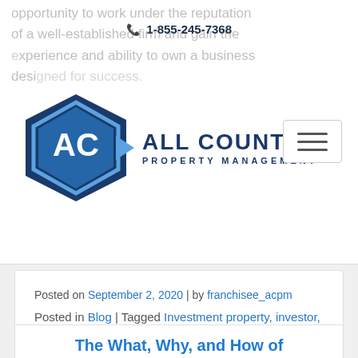opportunity to work under the reputation of a well-established firm and gain the experience and ability to own a business designed for success.
1-855-245-7368
[Figure (logo): All County Property Management logo with hexagon icon]
Posted on September 2, 2020 | by franchisee_acpm
Posted in Blog | Tagged Investment property, investor, owner, press release, property management, real estate, renter
The What, Why, and How of Investing in Real Estate